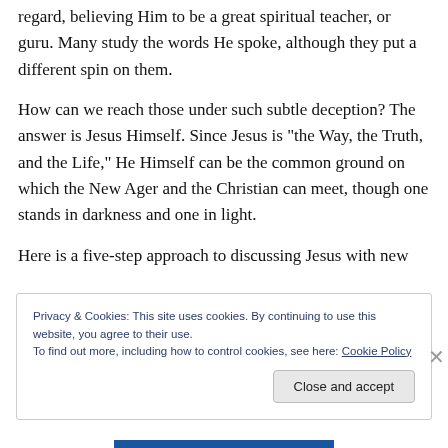regard, believing Him to be a great spiritual teacher, or guru. Many study the words He spoke, although they put a different spin on them.
How can we reach those under such subtle deception? The answer is Jesus Himself. Since Jesus is “the Way, the Truth, and the Life,” He Himself can be the common ground on which the New Ager and the Christian can meet, though one stands in darkness and one in light.
Here is a five-step approach to discussing Jesus with new
Privacy & Cookies: This site uses cookies. By continuing to use this website, you agree to their use.
To find out more, including how to control cookies, see here: Cookie Policy